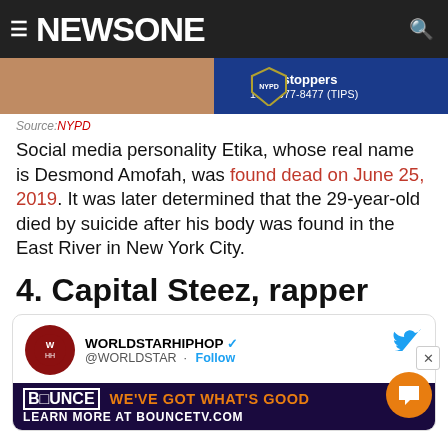NEWSONE
[Figure (photo): Partial photo of a person with an NYPD Crime Stoppers badge overlay reading '1800-577-8477 (TIPS)']
Source: NYPD
Social media personality Etika, whose real name is Desmond Amofah, was found dead on June 25, 2019. It was later determined that the 29-year-old died by suicide after his body was found in the East River in New York City.
4. Capital Steez, rapper
[Figure (screenshot): Tweet card from WORLDSTARHIPHOP (@WORLDSTAR) with Follow link and Bounce TV advertisement banner at the bottom]